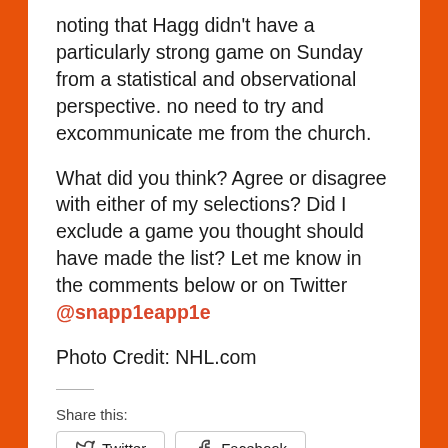noting that Hagg didn't have a particularly strong game on Sunday from a statistical and observational perspective. no need to try and excommunicate me from the church.
What did you think? Agree or disagree with either of my selections? Did I exclude a game you thought should have made the list? Let me know in the comments below or on Twitter @snapp1eapp1e
Photo Credit: NHL.com
Share this:
Loading...